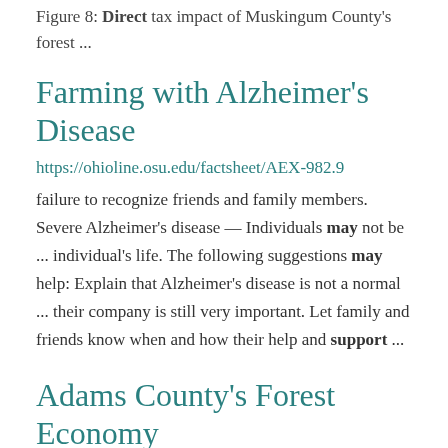Figure 8: Direct tax impact of Muskingum County's forest ...
Farming with Alzheimer's Disease
https://ohioline.osu.edu/factsheet/AEX-982.9
failure to recognize friends and family members. Severe Alzheimer's disease — Individuals may not be ... individual's life. The following suggestions may help: Explain that Alzheimer's disease is not a normal ... their company is still very important. Let family and friends know when and how their help and support ...
Adams County's Forest Economy